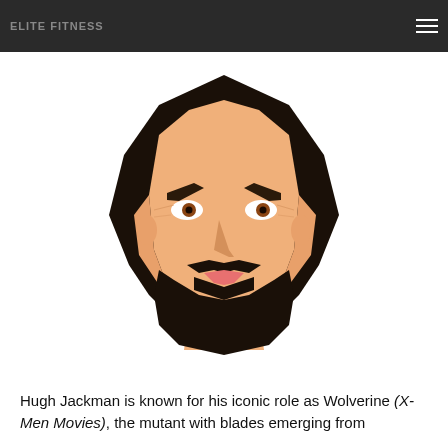ELITE FITNESS
[Figure (illustration): Flat geometric illustration of a bearded man's face (Hugh Jackman style) with dark hair, brown eyes, full beard and mustache, skin-tone face, pink lips. Low-poly flat design style.]
Hugh Jackman is known for his iconic role as Wolverine (X-Men Movies), the mutant with blades emerging from